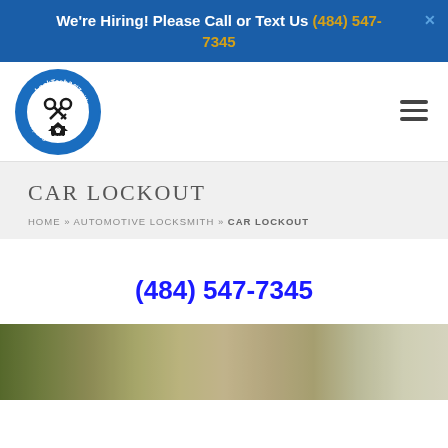We're Hiring! Please Call or Text Us (484) 547-7345
[Figure (logo): LockTech24/7 Locksmiths circular logo with key, lock and house icons, blue and white color scheme, phone number (484) 547-7345]
CAR LOCKOUT
HOME » AUTOMOTIVE LOCKSMITH » CAR LOCKOUT
(484) 547-7345
[Figure (photo): Outdoor photo showing trees and building exterior]